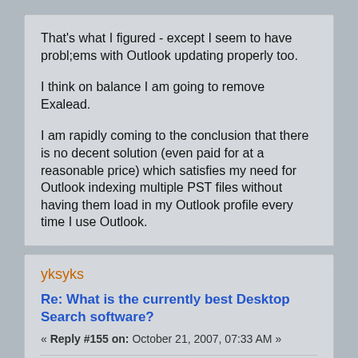That's what I figured - except I seem to have probl;ems with Outlook updating properly too.

I think on balance I am going to remove Exalead.

I am rapidly coming to the conclusion that there is no decent solution (even paid for at a reasonable price) which satisfies my need for Outlook indexing multiple PST files without having them load in my Outlook profile every time I use Outlook.
yksyks
Re: What is the currently best Desktop Search software?
« Reply #155 on: October 21, 2007, 07:33 AM »